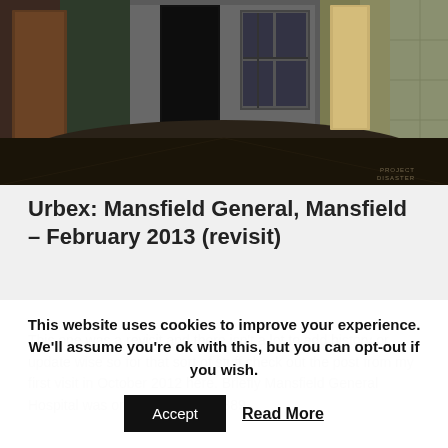[Figure (photo): Photograph of an abandoned building interior — debris-strewn floor, damaged doors, peeling walls, dim industrial lighting. Watermark 'PROJECT DISASTER' in lower right corner.]
Urbex: Mansfield General, Mansfield – February 2013 (revisit)
This one was a revisit and there isn't a lot to add history or update wise so for that sort of stuff check out the post from my first visit in October 2012 here. Briefly Mansfield General Hospital was originally built in 1889...
This website uses cookies to improve your experience. We'll assume you're ok with this, but you can opt-out if you wish.